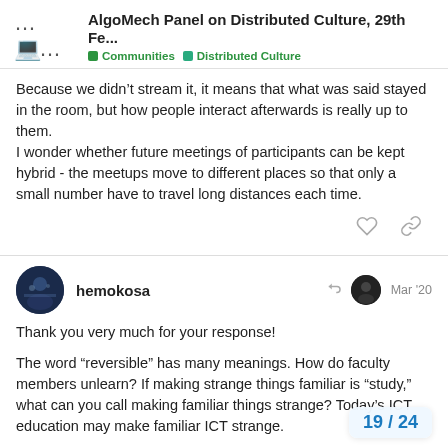AlgoMech Panel on Distributed Culture, 29th Fe... | Communities | Distributed Culture
Because we didn't stream it, it means that what was said stayed in the room, but how people interact afterwards is really up to them.
I wonder whether future meetings of participants can be kept hybrid - the meetups move to different places so that only a small number have to travel long distances each time.
hemokosa  Mar '20
Thank you very much for your response!

The word “reversible” has many meanings. How do faculty members unlearn? If making strange things familiar is “study,” what can you call making familiar things strange? Today’s ICT education may make familiar ICT strange.
19 / 24